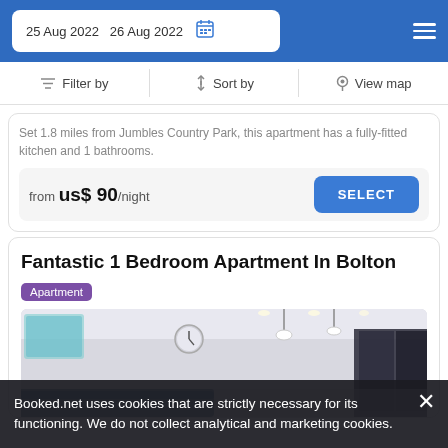25 Aug 2022   26 Aug 2022
Filter by   Sort by   View map
Set 1.8 miles from Jumbles Country Park, this apartment has a fully-fitted kitchen and 1 bathrooms.
from us$ 90/night SELECT
Fantastic 1 Bedroom Apartment In Bolton
Apartment
[Figure (photo): Interior photo of apartment showing white walls, pendant lights, and dark glass partition]
Booked.net uses cookies that are strictly necessary for its functioning. We do not collect analytical and marketing cookies.